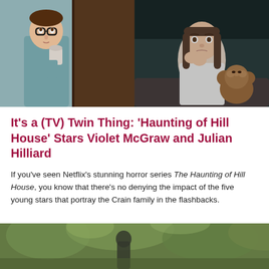[Figure (photo): Two side-by-side film stills from The Haunting of Hill House. Left: a young boy wearing glasses peering around a wooden door, holding something. Right: a young girl with her hands clasped near her face, sitting with a stuffed animal, looking frightened.]
It's a (TV) Twin Thing: 'Haunting of Hill House' Stars Violet McGraw and Julian Hilliard
If you've seen Netflix's stunning horror series The Haunting of Hill House, you know that there's no denying the impact of the five young stars that portray the Crain family in the flashbacks.
[Figure (photo): Partial bottom image showing a blurred outdoor scene with green foliage and a figure, partially cut off at the bottom of the page.]